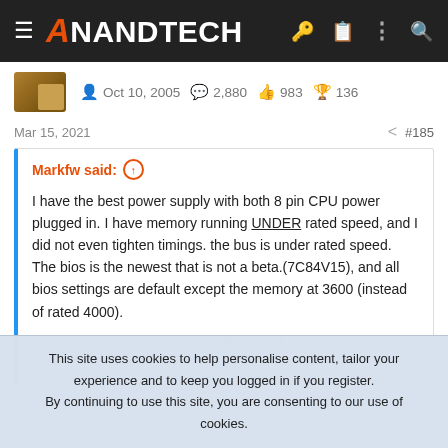AnandTech
Oct 10, 2005   2,880   983   136
Mar 15, 2021   #185
Markfw said: ↑

I have the best power supply with both 8 pin CPU power plugged in. I have memory running UNDER rated speed, and I did not even tighten timings. the bus is under rated speed. The bios is the newest that is not a beta.(7C84V15), and all bios settings are default except the memory at 3600 (instead of rated 4000).

There is no reason for it to be unstable that I can think of, and on
This site uses cookies to help personalise content, tailor your experience and to keep you logged in if you register.
By continuing to use this site, you are consenting to our use of cookies.